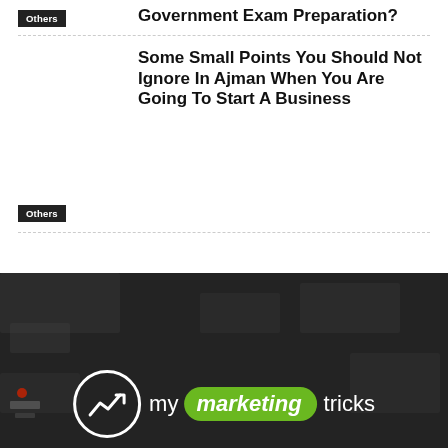Government Exam Preparation?
Others
Some Small Points You Should Not Ignore In Ajman When You Are Going To Start A Business
Others
[Figure (logo): My Marketing Tricks logo with circular chart icon and green oval around 'marketing' text]